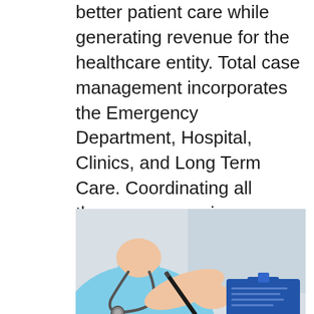better patient care while generating revenue for the healthcare entity. Total case management incorporates the Emergency Department, Hospital, Clinics, and Long Term Care. Coordinating all these resources increases NET REVENUE by $500,000 a year at minimum.
[Figure (photo): A nurse or healthcare professional wearing a light blue scrub top with a stethoscope, writing on a clipboard.]